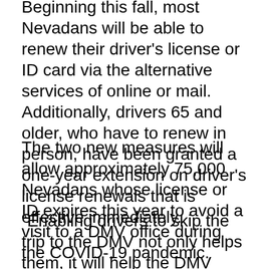Beginning this fall, most Nevadans will be able to renew their driver's license or ID card via the alternative services of online or mail. Additionally, drivers 65 and older, who have to renew in person, have been granted a one-year extension on driver's license renewals that is effective immediately.
The two new measures will allow approximately 75,000 Nevadans whose license or ID expires this year to avoid a visit to a DMV office during the COVID-19 pandemic.
“Enabling drivers to skip the trip to the DMV not only helps them, it will help the DMV serve those who need car registrations or other services much more quickly,” said DMV Director Julie Butler. “Alternate li...